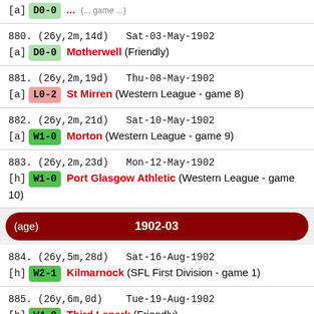880. (26y,2m,14d)  Sat-03-May-1902 [a] D0-0  Motherwell (Friendly)
881. (26y,2m,19d)  Thu-08-May-1902 [a] L0-2  St Mirren (Western League - game 8)
882. (26y,2m,21d)  Sat-10-May-1902 [a] W1-0  Morton (Western League - game 9)
883. (26y,2m,23d)  Mon-12-May-1902 [h] W1-0  Port Glasgow Athletic (Western League - game 10)
(age)  1902-03
884. (26y,5m,28d)  Sat-16-Aug-1902 [h] W2-1  Kilmarnock (SFL First Division - game 1)
885. (26y,6m,0d)   Tue-19-Aug-1902 [h] W4-0  Third Lanark (Friendly)
886. (26y,6m,2d)   Thu-21-Aug-1902 [a] W2-0  Queen's Park (Ibrox Disaster Tournament 1st Round)
887. (26y,6m,4d)   Sat-23-Aug-1902 [a] L0-9  Rangers (SFL First Division - game 2)